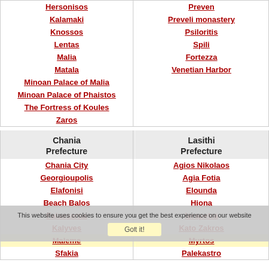Hersonisos
Kalamaki
Knossos
Lentas
Malia
Matala
Minoan Palace of Malia
Minoan Palace of Phaistos
The Fortress of Koules
Zaros
Preven
Preveli monastery
Psiloritis
Spili
Fortezza
Venetian Harbor
Chania Prefecture
Chania City
Georgioupolis
Elafonisi
Beach Balos
Falassarna
Kalyves
Maleme
Sfakia
Lasithi Prefecture
Agios Nikolaos
Agia Fotia
Elounda
Hiona
Ierapetra
Kato Zakros
Myrtos
Palekastro
This website uses cookies to ensure you get the best experience on our website